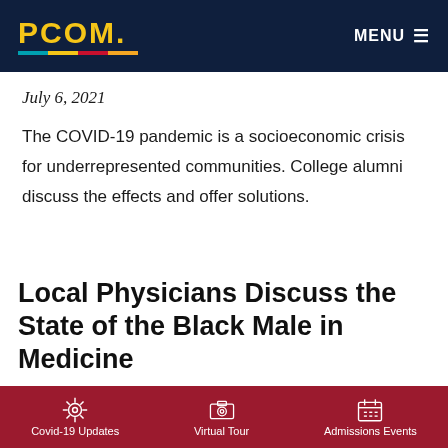PCOM. MENU
July 6, 2021
The COVID-19 pandemic is a socioeconomic crisis for underrepresented communities. College alumni discuss the effects and offer solutions.
Local Physicians Discuss the State of the Black Male in Medicine
Covid-19 Updates  Virtual Tour  Admissions Events